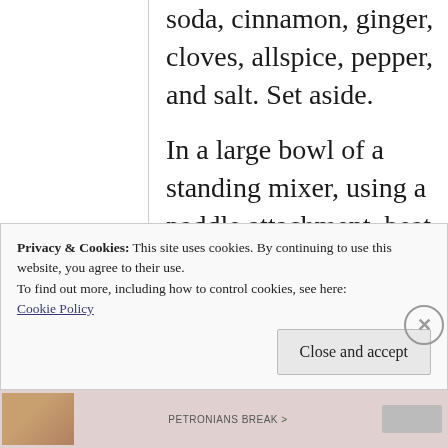soda, cinnamon, ginger, cloves, allspice, pepper, and salt. Set aside.

In a large bowl of a standing mixer, using a paddle attachment, beat the butter with the brown sugar and the 1/3 cup of granulated sugar on
Privacy & Cookies: This site uses cookies. By continuing to use this website, you agree to their use.
To find out more, including how to control cookies, see here:
Cookie Policy
Close and accept